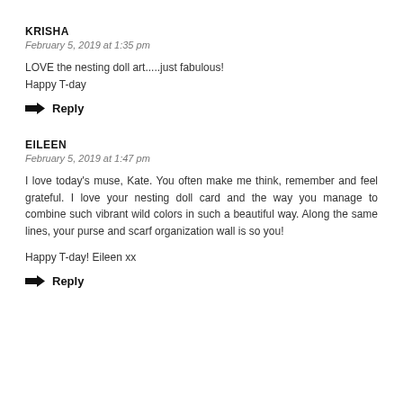KRISHA
February 5, 2019 at 1:35 pm
LOVE the nesting doll art.....just fabulous!
Happy T-day
→ Reply
EILEEN
February 5, 2019 at 1:47 pm
I love today's muse, Kate. You often make me think, remember and feel grateful. I love your nesting doll card and the way you manage to combine such vibrant wild colors in such a beautiful way. Along the same lines, your purse and scarf organization wall is so you!

Happy T-day! Eileen xx
→ Reply